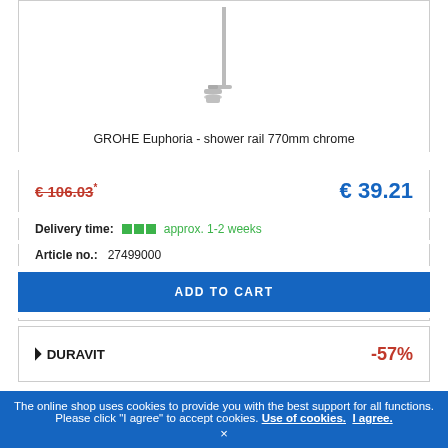[Figure (photo): GROHE shower rail product image, chrome, showing vertical rail with head]
GROHE Euphoria - shower rail 770mm chrome
€ 106.03* (strikethrough, old price) | € 39.21 (new price)
Delivery time: approx. 1-2 weeks
Article no.: 27499000
ADD TO CART
[Figure (logo): Duravit logo]
-57%
The online shop uses cookies to provide you with the best support for all functions. Please click "I agree" to accept cookies. Use of cookies. I agree.